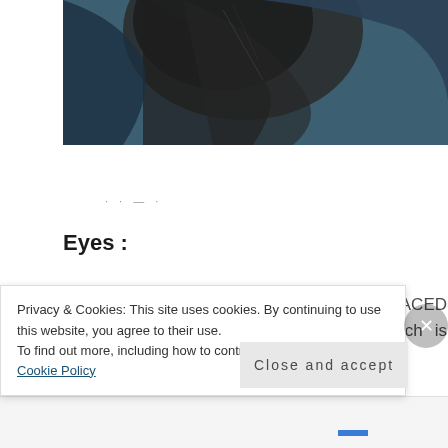[Figure (photo): Close-up photo of a person with dark hair against a dark teal/blue background, showing the top portion of a head and hair against dark blue fabric.]
· · — ·
Eyes :
For my eye makeup, I used the TOO FACED Chocolate Gold Eye Shadow Palette which is made with 100% cocoa
Privacy & Cookies: This site uses cookies. By continuing to use this website, you agree to their use.
To find out more, including how to control cookies, see here: Cookie Policy
Close and accept